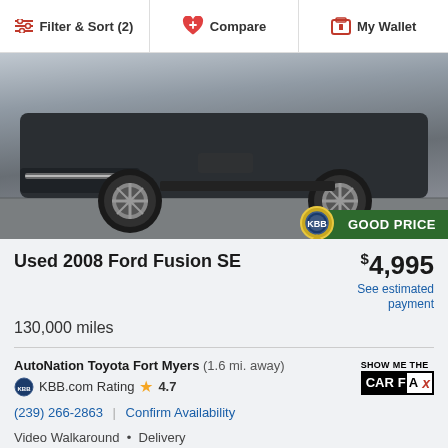Filter & Sort (2)  Compare  My Wallet
[Figure (photo): Bottom portion of a dark blue car (sedan), showing wheels and underside, photographed in a studio setting]
Used 2008 Ford Fusion SE
$4,995
See estimated payment
130,000 miles
AutoNation Toyota Fort Myers (1.6 mi. away)
KBB.com Rating ★ 4.7
(239) 266-2863 | Confirm Availability
Video Walkaround • Delivery
Appraise Now
[Figure (photo): Partial view of a car with sky background, bottom strip showing beginning of next listing card]